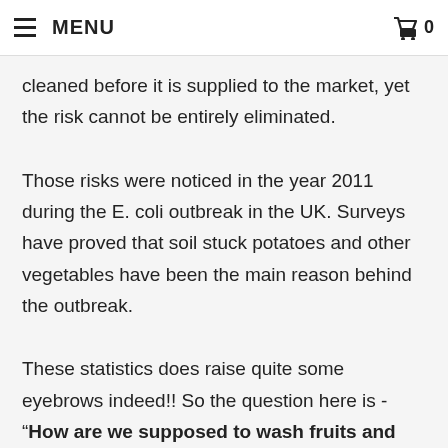MENU  0
cleaned before it is supplied to the market, yet the risk cannot be entirely eliminated.
Those risks were noticed in the year 2011 during the E. coli outbreak in the UK. Surveys have proved that soil stuck potatoes and other vegetables have been the main reason behind the outbreak.
These statistics does raise quite some eyebrows indeed!! So the question here is - “How are we supposed to wash fruits and vegetables?”
Understanding the importance of healthy eating, a number of people have switched